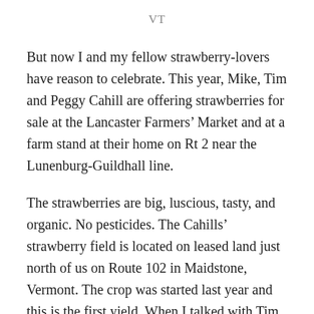VT
But now I and my fellow strawberry-lovers have reason to celebrate. This year, Mike, Tim and Peggy Cahill are offering strawberries for sale at the Lancaster Farmers’ Market and at a farm stand at their home on Rt 2 near the Lunenburg-Guildhall line.
The strawberries are big, luscious, tasty, and organic. No pesticides. The Cahills’ strawberry field is located on leased land just north of us on Route 102 in Maidstone, Vermont. The crop was started last year and this is the first yield. When I talked with Tim Cahill at today’s Farmers’ Market in Lancaster, he confessed that raising strawberries for sale is hard work, but worth it in the end. Although part of this